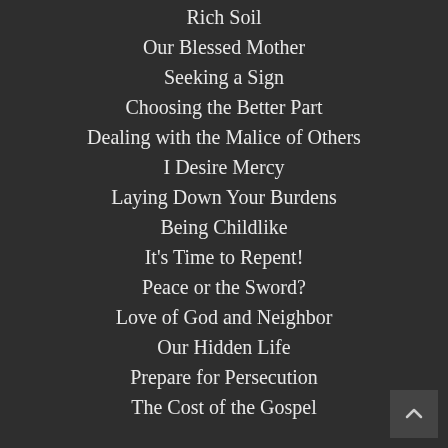Rich Soil
Our Blessed Mother
Seeking a Sign
Choosing the Better Part
Dealing with the Malice of Others
I Desire Mercy
Laying Down Your Burdens
Being Childlike
It's Time to Repent!
Peace or the Sword?
Love of God and Neighbor
Our Hidden Life
Prepare for Persecution
The Cost of the Gospel